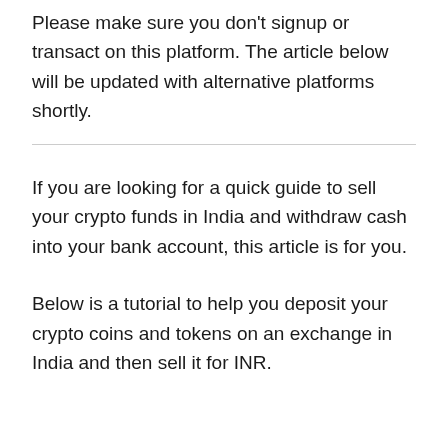Please make sure you don't signup or transact on this platform. The article below will be updated with alternative platforms shortly.
If you are looking for a quick guide to sell your crypto funds in India and withdraw cash into your bank account, this article is for you.
Below is a tutorial to help you deposit your crypto coins and tokens on an exchange in India and then sell it for INR.